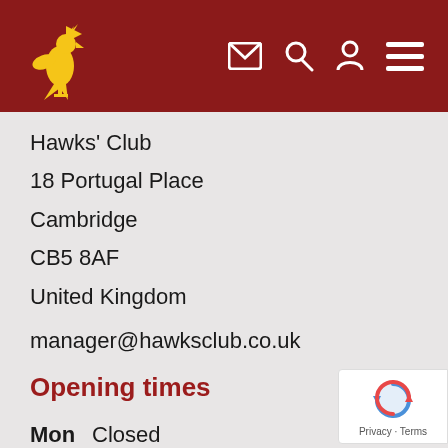[Figure (logo): Hawks' Club website navigation bar with golden hawk logo on dark red background, mail icon, search icon, person icon, and hamburger menu]
Hawks' Club
18 Portugal Place
Cambridge
CB5 8AF
United Kingdom
manager@hawksclub.co.uk
Opening times
Mon  Closed
Tue  18:00 – 23:00
Wed 18:00 – 23:00
Thu  18:00 – 23:00
Fri    18:00 – 23:00
Sat  18:00 – 23:00